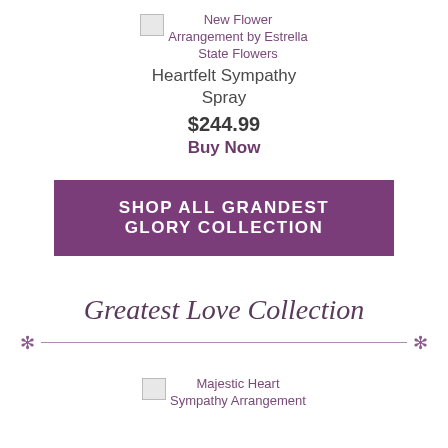[Figure (photo): Small broken image placeholder for New Flower Arrangement by Estrella State Flowers Heartfelt Sympathy Spray]
New Flower Arrangement by Estrella State Flowers
Heartfelt Sympathy Spray
$244.99
Buy Now
SHOP ALL GRANDEST GLORY COLLECTION
Greatest Love Collection
[Figure (photo): Small broken image placeholder for Majestic Heart Sympathy Arrangement]
Majestic Heart Sympathy Arrangement